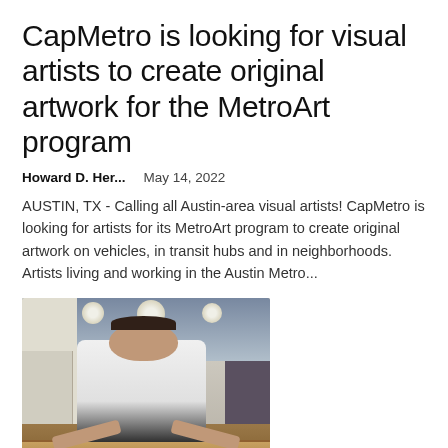CapMetro is looking for visual artists to create original artwork for the MetroArt program
Howard D. Her...   May 14, 2022
AUSTIN, TX - Calling all Austin-area visual artists! CapMetro is looking for artists for its MetroArt program to create original artwork on vehicles, in transit hubs and in neighborhoods. Artists living and working in the Austin Metro...
[Figure (photo): A man wearing a white polo shirt leaning over a wooden table in a well-lit room with recessed lighting and furniture in the background.]